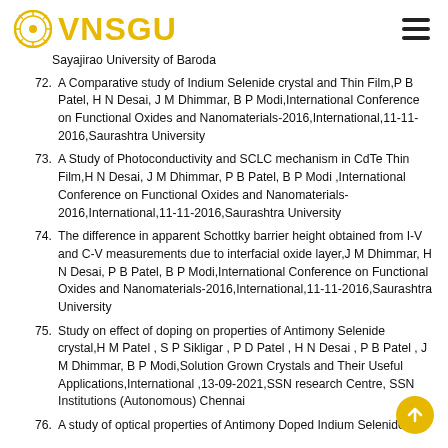VNSGU
Sayajirao University of Baroda
72. A Comparative study of Indium Selenide crystal and Thin Film,P B Patel, H N Desai, J M Dhimmar, B P Modi,International Conference on Functional Oxides and Nanomaterials-2016,International,11-11-2016,Saurashtra University
73. A Study of Photoconductivity and SCLC mechanism in CdTe Thin Film,H N Desai, J M Dhimmar, P B Patel, B P Modi ,International Conference on Functional Oxides and Nanomaterials-2016,International,11-11-2016,Saurashtra University
74. The difference in apparent Schottky barrier height obtained from I-V and C-V measurements due to interfacial oxide layer,J M Dhimmar, H N Desai, P B Patel, B P Modi,International Conference on Functional Oxides and Nanomaterials-2016,International,11-11-2016,Saurashtra University
75. Study on effect of doping on properties of Antimony Selenide crystal,H M Patel , S P Sikligar , P D Patel , H N Desai , P B Patel , J M Dhimmar, B P Modi,Solution Grown Crystals and Their Useful Applications,International ,13-09-2021,SSN research Centre, SSN Institutions (Autonomous) Chennai
76. A study of optical properties of Antimony Doped Indium Selenide